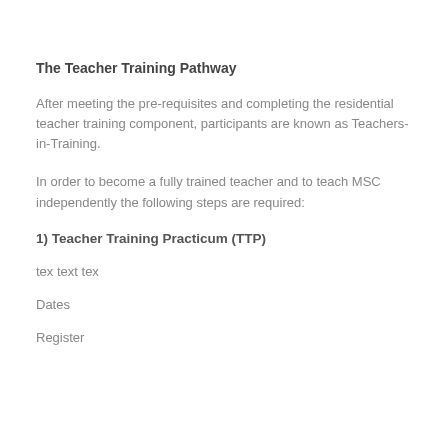The Teacher Training Pathway
After meeting the pre-requisites and completing the residential teacher training component, participants are known as Teachers-in-Training.
In order to become a fully trained teacher and to teach MSC independently the following steps are required:
1) Teacher Training Practicum (TTP)
tex text tex
Dates
Register